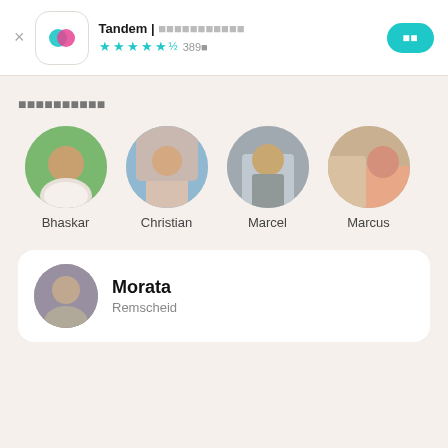Tandem | ■■■■■■■■■■■ — ★★★★★ 389■
■■■■■■■■■■
[Figure (photo): Four circular user profile photos with names below: Bhaskar, Christian, Marcel, Marcus]
[Figure (photo): Single user review card with circular photo and name Morata, location Remscheid]